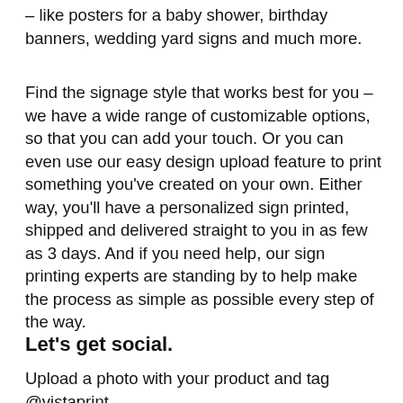– like posters for a baby shower, birthday banners, wedding yard signs and much more.
Find the signage style that works best for you – we have a wide range of customizable options, so that you can add your touch. Or you can even use our easy design upload feature to print something you've created on your own. Either way, you'll have a personalized sign printed, shipped and delivered straight to you in as few as 3 days. And if you need help, our sign printing experts are standing by to help make the process as simple as possible every step of the way.
Let's get social.
Upload a photo with your product and tag @vistaprint